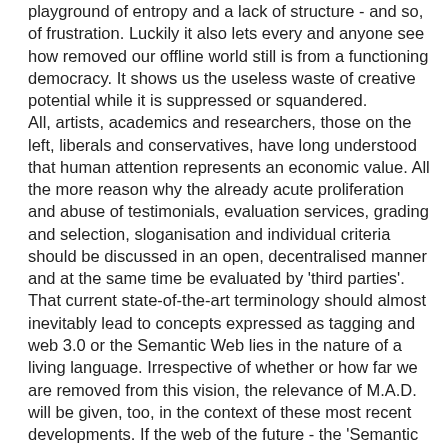playground of entropy and a lack of structure - and so, of frustration. Luckily it also lets every and anyone see how removed our offline world still is from a functioning democracy. It shows us the useless waste of creative potential while it is suppressed or squandered.
All, artists, academics and researchers, those on the left, liberals and conservatives, have long understood that human attention represents an economic value. All the more reason why the already acute proliferation and abuse of testimonials, evaluation services, grading and selection, sloganisation and individual criteria should be discussed in an open, decentralised manner and at the same time be evaluated by 'third parties'.
That current state-of-the-art terminology should almost inevitably lead to concepts expressed as tagging and web 3.0 or the Semantic Web lies in the nature of a living language. Irrespective of whether or how far we are removed from this vision, the relevance of M.A.D. will be given, too, in the context of these most recent developments. If the web of the future - the 'Semantic Web', the 'Live Web', the 'Intelligent Web', 'Web 3.0' - may be described as a database of databases, then the M.A.D. could, in the sense sketched